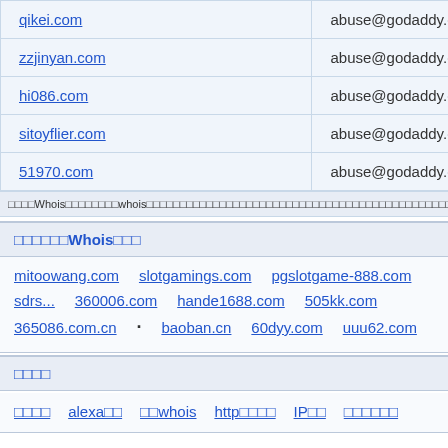| domain | abuse contact |
| --- | --- |
| qikei.com | abuse@godaddy.com |
| zzjinyan.com | abuse@godaddy.com |
| hi086.com | abuse@godaddy.com |
| sitoyflier.com | abuse@godaddy.com |
| 51970.com | abuse@godaddy.com |
□□□□Whois□□□□□□□□whois□□□□□□□□□□□□□□□□□□□□□□□□□□□□□□□□□□□□□□□□□□□□□□□□□□□□□□□□□□□□□□□□□□□□□□□□whois
□□□□□□Whois□□□
mitoowang.com   slotgamings.com   pgslotgame-888.com   sdrs...
360006.com   hande1688.com   505kk.com   365086.com.cn   ...
baoban.cn   60dyy.com   uuu62.com
□□□□
□□□□   alexa□□   □□whois   http□□□□   IP□□   □□□□□□